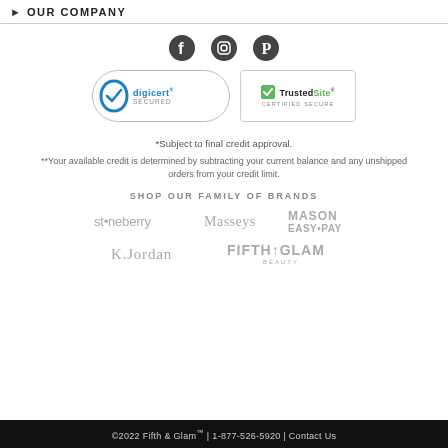OUR COMPANY
[Figure (logo): Facebook, Instagram, Pinterest social media icons in dark gray]
[Figure (logo): DigiCert Secured badge and TrustedSite Certified Secure badge]
*Subject to final credit approval.
**Your available credit is determined by subtracting your current balance and any unshipped orders from your credit limit.
SHOP OUR FAMILY OF BRANDS
[Figure (logo): Stoneberry, Masseys, and Mason Easy-Pay brand logos in gray]
[Figure (logo): K. Jordan and Fifth & Glam Beauty brand logos in gray]
©2022 Fifth & Glam™ | 1-877-526-5920 | Contact Us